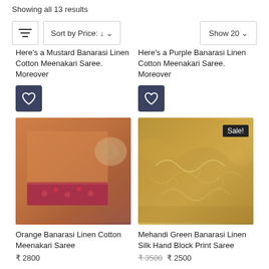Showing all 13 results
Sort by Price: ↓ ∨
Show 20 ∨
Here's a Mustard Banarasi Linen Cotton Meenakari Saree. Moreover
Here's a Purple Banarasi Linen Cotton Meenakari Saree. Moreover
[Figure (photo): Orange Banarasi Linen Cotton Meenakari Saree folded product photo]
[Figure (photo): Mehandi Green Banarasi Linen Silk Hand Block Print Saree draped fabric photo with Sale! badge]
Orange Banarasi Linen Cotton Meenakari Saree
₹ 2800
Mehandi Green Banarasi Linen Silk Hand Block Print Saree
₹ 3500   ₹ 2500